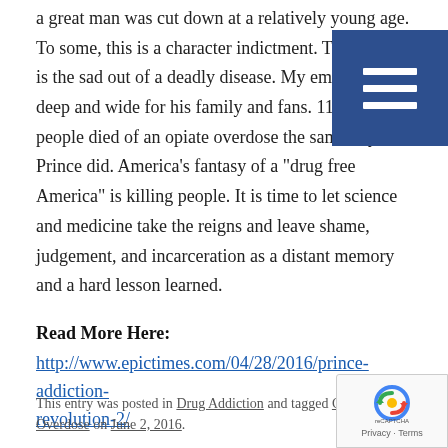a great man was cut down at a relatively young age. To some, this is a character indictment. To me, this is the sad outcome of a deadly disease. My empathy is deep and wide for his family and fans. 114 other people died of an opiate overdose the same day Prince did. America’s fantasy of a “drug free America” is killing people. It is time to let science and medicine take the reigns and leave shame, judgement, and incarceration as a distant memory and a hard lesson learned.
[Figure (other): Blue hamburger/menu button icon with three white horizontal lines on a dark blue square background, positioned in top-right corner]
Read More Here:
http://www.epictimes.com/04/28/2016/prince-addiction-revolution-2/
This entry was posted in Drug Addiction and tagged Celebrity, Overdose on June 2, 2016.
[Figure (logo): Google reCAPTCHA badge in bottom-right corner showing reCAPTCHA logo and Privacy - Terms text]